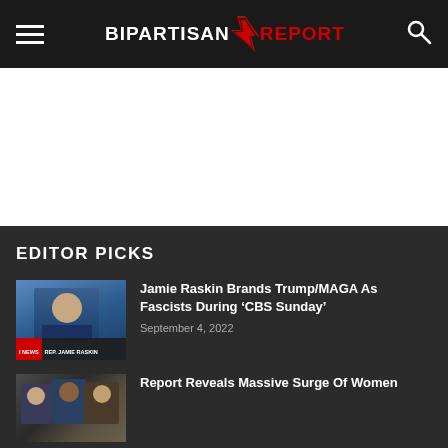BIPARTISAN REPORT
[Figure (screenshot): White advertisement area]
EDITOR PICKS
[Figure (photo): Jamie Raskin on TV news segment with lower third chyron showing REP. JAMIE RASKIN]
Jamie Raskin Brands Trump/MAGA As Fascists During ‘CBS Sunday’
September 4, 2022
[Figure (photo): Group of women at what appears to be a rally or event]
Report Reveals Massive Surge Of Women